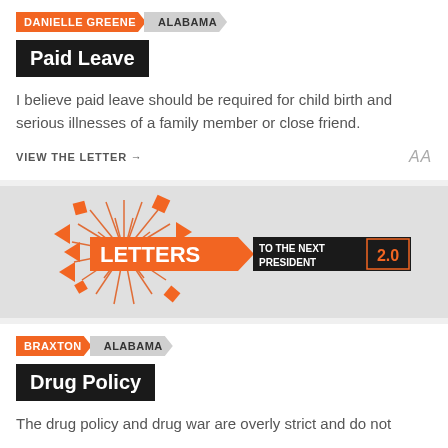DANIELLE GREENE | ALABAMA
Paid Leave
I believe paid leave should be required for child birth and serious illnesses of a family member or close friend.
VIEW THE LETTER →
[Figure (logo): Letters to the Next President 2.0 logo with orange burst/arrow graphic]
BRAXTON | ALABAMA
Drug Policy
The drug policy and drug war are overly strict and do not